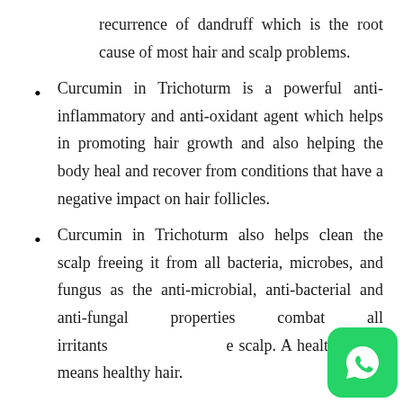recurrence of dandruff which is the root cause of most hair and scalp problems.
Curcumin in Trichoturm is a powerful anti-inflammatory and anti-oxidant agent which helps in promoting hair growth and also helping the body heal and recover from conditions that have a negative impact on hair follicles.
Curcumin in Trichoturm also helps clean the scalp freeing it from all bacteria, microbes, and fungus as the anti-microbial, anti-bacterial and anti-fungal properties combat all irritants on the scalp. A healthy scalp means healthy hair.